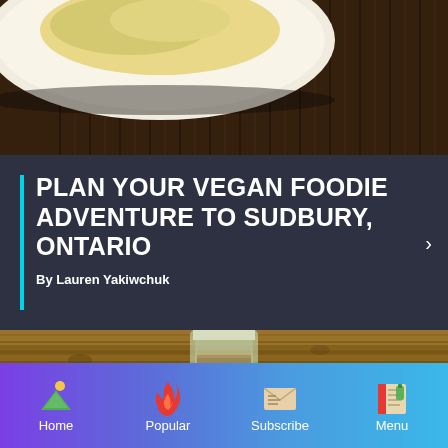[Figure (photo): Close-up photo of a white plate with food on a dark wood surface, top portion of image]
PLAN YOUR VEGAN FOODIE ADVENTURE TO SUDBURY, ONTARIO
By Lauren Yakiwchuk
[Figure (photo): Photo of a mason jar with a drink on a wooden table surface]
Home  Popular  Subscribe  Menu